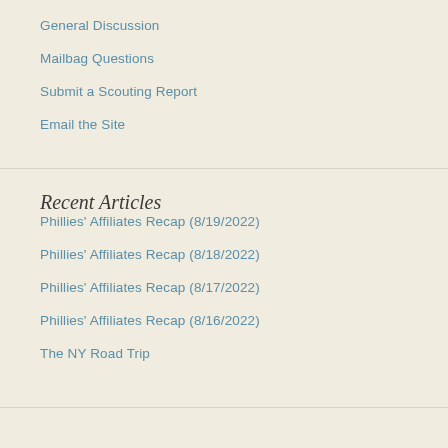General Discussion
Mailbag Questions
Submit a Scouting Report
Email the Site
Recent Articles
Phillies' Affiliates Recap (8/19/2022)
Phillies' Affiliates Recap (8/18/2022)
Phillies' Affiliates Recap (8/17/2022)
Phillies' Affiliates Recap (8/16/2022)
The NY Road Trip